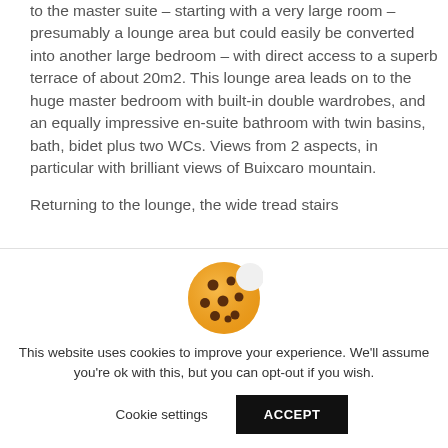to the master suite – starting with a very large room – presumably a lounge area but could easily be converted into another large bedroom – with direct access to a superb terrace of about 20m2. This lounge area leads on to the huge master bedroom with built-in double wardrobes, and an equally impressive en-suite bathroom with twin basins, bath, bidet plus two WCs. Views from 2 aspects, in particular with brilliant views of Buixcaro mountain.
Returning to the lounge, the wide tread stairs
[Figure (illustration): Cookie emoji icon — a round golden-brown cookie with chocolate chip spots]
This website uses cookies to improve your experience. We'll assume you're ok with this, but you can opt-out if you wish.
Cookie settings    ACCEPT